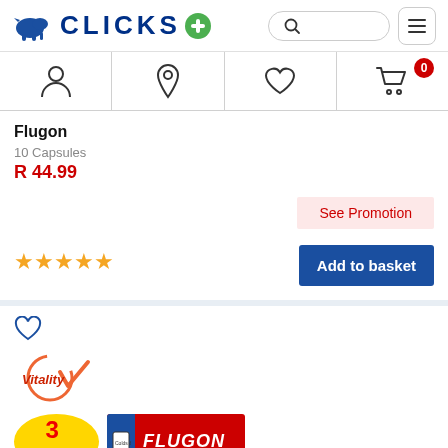[Figure (logo): Clicks pharmacy logo with blue rhino icon and CLICKS text with green plus sign]
[Figure (screenshot): Navigation icon bar with person, location pin, heart, and shopping cart icons. Cart has red badge showing 0.]
Flugon
10 Capsules
R 44.99
See Promotion
[Figure (other): Five gold/yellow star rating icons]
Add to basket
[Figure (other): Heart outline (wishlist) icon for second product card]
[Figure (logo): Vitality logo with circular arrow and checkmark]
[Figure (other): Partial view of 3-for-2 promotion badge and Flugon product packaging]